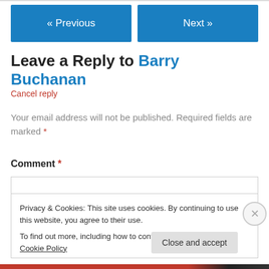[Figure (other): Navigation buttons: Previous and Next in blue]
Leave a Reply to Barry Buchanan
Cancel reply
Your email address will not be published. Required fields are marked *
Comment *
Privacy & Cookies: This site uses cookies. By continuing to use this website, you agree to their use. To find out more, including how to control cookies, see here: Cookie Policy
Close and accept